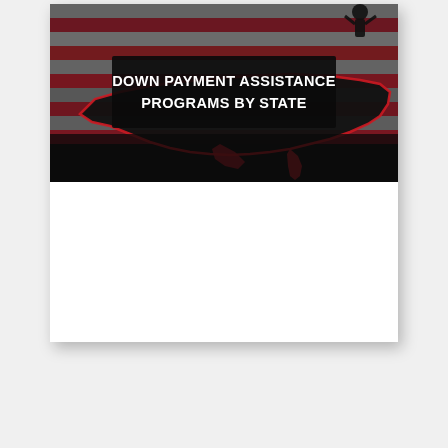[Figure (illustration): Decorative banner image showing an American flag with a silhouette map of the United States overlaid in black, with red and white stripes visible. A dark semi-transparent rectangle overlays the center containing bold white text reading DOWN PAYMENT ASSISTANCE PROGRAMS BY STATE.]